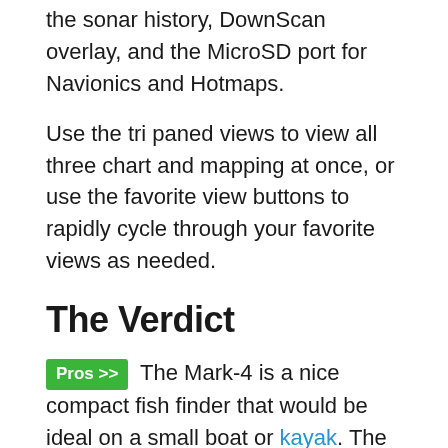the sonar history, DownScan overlay, and the MicroSD port for Navionics and Hotmaps.
Use the tri paned views to view all three chart and mapping at once, or use the favorite view buttons to rapidly cycle through your favorite views as needed.
The Verdict
Pros >> The Mark-4 is a nice compact fish finder that would be ideal on a small boat or kayak. The prices are excellent for the charting and HDI/CHIRP sonar technologies that are packed into the little suckers. Lowrance has designed the Mark-4 family to be extremely simple to install as well as operate